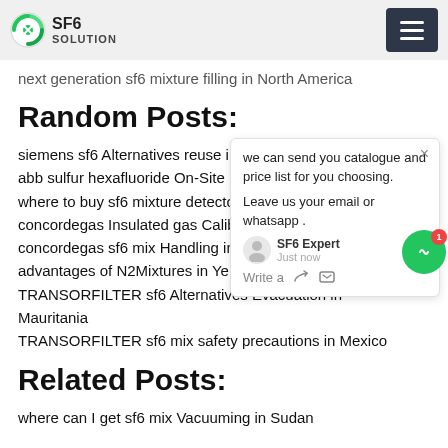SF6 SOLUTION
next generation sf6 mixture filling in North America
Random Posts:
siemens sf6 Alternatives reuse in Guine
abb sulfur hexafluoride On-Site in Latvia
where to buy sf6 mixture detector in Aze
concordegas Insulated gas Calibration i
concordegas sf6 mix Handling in Ky z
advantages of N2Mixtures in Yemen
TRANSORFILTER sf6 Alternatives Evacuation in Mauritania
TRANSORFILTER sf6 mix safety precautions in Mexico
Related Posts:
where can I get sf6 mix Vacuuming in Sudan